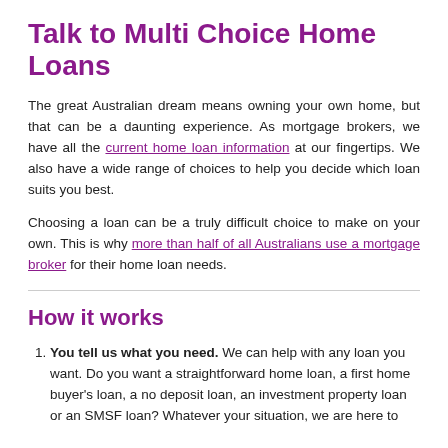Talk to Multi Choice Home Loans
The great Australian dream means owning your own home, but that can be a daunting experience. As mortgage brokers, we have all the current home loan information at our fingertips. We also have a wide range of choices to help you decide which loan suits you best.
Choosing a loan can be a truly difficult choice to make on your own. This is why more than half of all Australians use a mortgage broker for their home loan needs.
How it works
You tell us what you need. We can help with any loan you want. Do you want a straightforward home loan, a first home buyer's loan, a no deposit loan, an investment property loan or an SMSF loan? Whatever your situation, we are here to